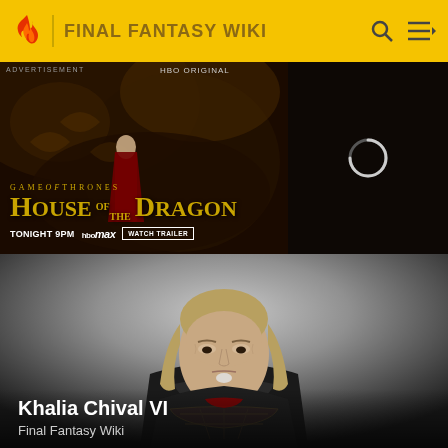FINAL FANTASY WIKI
[Figure (screenshot): Advertisement banner for House of the Dragon on HBO Max. Shows a woman in red dress, dragon scales in background. Text: Game of Thrones, House of the Dragon, Tonight 9PM, HBO Max, Watch Trailer. Right half shows loading spinner on dark background.]
[Figure (illustration): 3D rendered character portrait of Khalia Chival VI from Final Fantasy Wiki. Middle-aged man with long blond/grey hair, stern expression, wearing dark ornate armor with high collar, small white beard tuft. Background is grey gradient.]
Khalia Chival VI
Final Fantasy Wiki